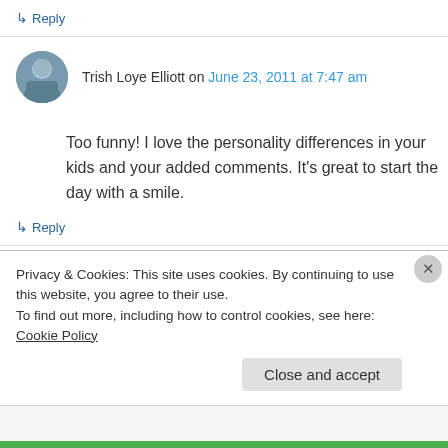↳ Reply
Trish Loye Elliott on June 23, 2011 at 7:47 am
Too funny! I love the personality differences in your kids and your added comments. It's great to start the day with a smile.
↳ Reply
Chase McFadden on June 24, 2011 at 8:53 am
Privacy & Cookies: This site uses cookies. By continuing to use this website, you agree to their use.
To find out more, including how to control cookies, see here: Cookie Policy
Close and accept